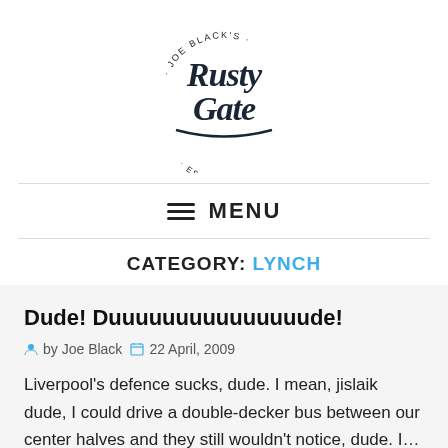[Figure (logo): Joe Black's Rusty Gate Est. 2005 logo in script/handwritten style]
MENU
CATEGORY: LYNCH
Dude! Duuuuuuuuuuuuuuude!
by Joe Black   22 April, 2009
Liverpool's defence sucks, dude. I mean, jislaik dude, I could drive a double-decker bus between our center halves and they still wouldn't notice, dude. I...